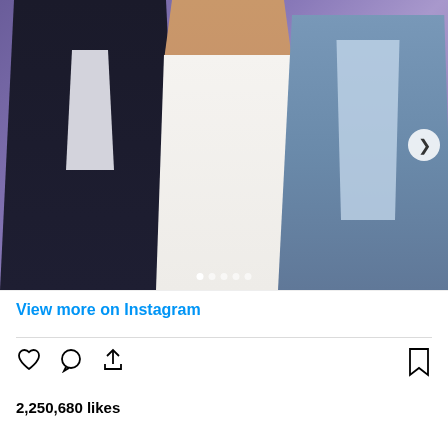[Figure (photo): Three people posing together at what appears to be a movie premiere or event. Person on left wears a dark navy double-breasted suit. Person in the center is a woman wearing a white strapless dress with a bracelet. Person on right wears a light blue/grey blazer and jeans.]
View more on Instagram
2,250,680 likes